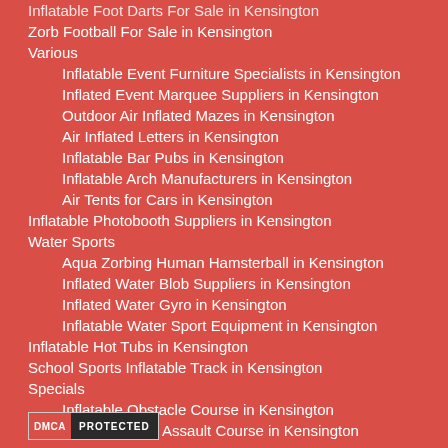Inflatable Foot Darts For Sale in Kensington
Zorb Football For Sale in Kensington
Various
Inflatable Event Furniture Specialists in Kensington
Inflated Event Marquee Suppliers in Kensington
Outdoor Air Inflated Mazes in Kensington
Air Inflated Letters in Kensington
Inflatable Bar Pubs in Kensington
Inflatable Arch Manufacturers in Kensington
Air Tents for Cars in Kensington
Inflatable Photobooth Suppliers in Kensington
Water Sports
Aqua Zorbing Human Hamsterball in Kensington
Inflated Water Blob Suppliers in Kensington
Inflated Water Gyro in Kensington
Inflatable Water Sport Equipment in Kensington
Inflatable Hot Tubs in Kensington
School Sports Inflatable Track in Kensington
Specials
Inflatable Obstacle Course in Kensington
Bouncy Castle Assault Course in Kensington